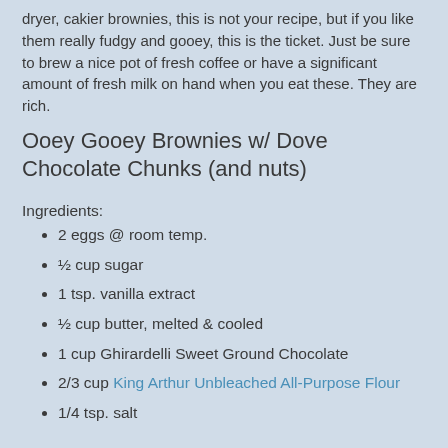dryer, cakier brownies, this is not your recipe, but if you like them really fudgy and gooey, this is the ticket.  Just be sure to brew a nice pot of fresh coffee or have a significant amount of fresh milk on hand when you eat these.  They are rich.
Ooey Gooey Brownies w/ Dove Chocolate Chunks (and nuts)
Ingredients:
2 eggs @ room temp.
½ cup sugar
1 tsp. vanilla extract
½ cup butter, melted & cooled
1 cup Ghirardelli Sweet Ground Chocolate
2/3 cup King Arthur Unbleached All-Purpose Flour
1/4 tsp. salt